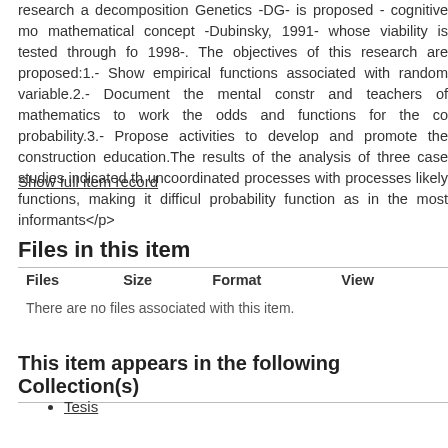research a decomposition Genetics -DG- is proposed - cognitive mo mathematical concept -Dubinsky, 1991- whose viability is tested through fo 1998-. The objectives of this research are proposed:1.- Show empirical functions associated with random variable.2.- Document the mental constr and teachers of mathematics to work the odds and functions for the co probability.3.- Propose activities to develop and promote the construction education.The results of the analysis of three case studies indicated th uncoordinated processes with processes likely functions, making it difficul probability function as in the most informants</p>
Show full item record
Files in this item
| Files | Size | Format | View |
| --- | --- | --- | --- |
| There are no files associated with this item. |  |  |  |
This item appears in the following Collection(s)
Tesis